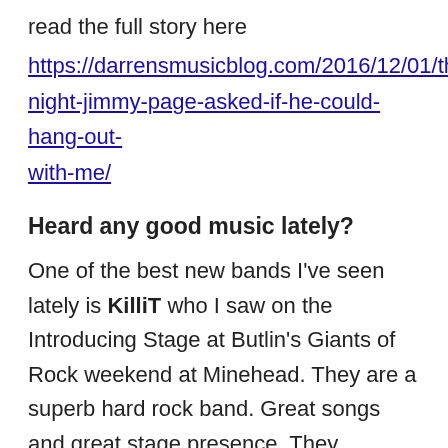read the full story here
https://darrensmusicblog.com/2016/12/01/the-night-jimmy-page-asked-if-he-could-hang-out-with-me/
Heard any good music lately?
One of the best new bands I’ve seen lately is KilliT who I saw on the Introducing Stage at Butlin’s Giants of Rock weekend at Minehead. They are a superb hard rock band. Great songs and great stage presence. They deserve to go far
http://www.killitband.com/